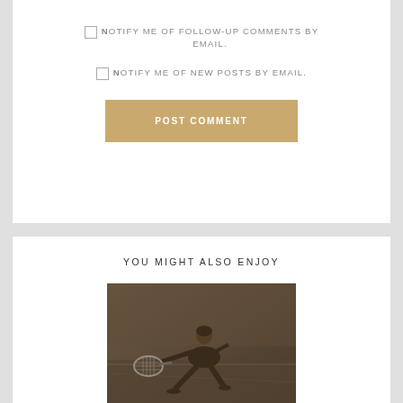NOTIFY ME OF FOLLOW-UP COMMENTS BY EMAIL.
NOTIFY ME OF NEW POSTS BY EMAIL.
POST COMMENT
YOU MIGHT ALSO ENJOY
[Figure (photo): Black and white photograph of a female tennis player lunging to reach for a ball on a tennis court, holding a racket extended to the side.]